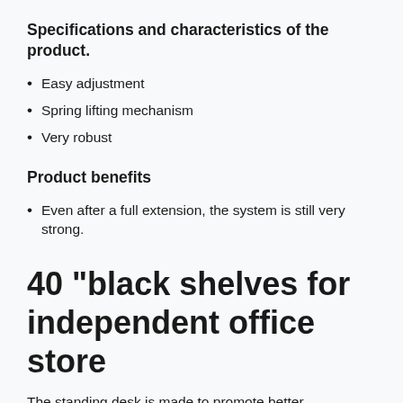Specifications and characteristics of the product.
Easy adjustment
Spring lifting mechanism
Very robust
Product benefits
Even after a full extension, the system is still very strong.
40 “black shelves for independent office store
The standing desk is made to promote better